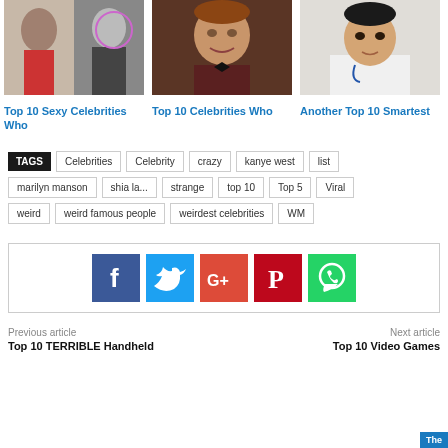[Figure (photo): Photo of female celebrities]
Top 10 Sexy Celebrities Who
[Figure (photo): Photo of Bill Murray smiling]
Top 10 Celebrities Who
[Figure (photo): Photo of Ken Jeong in doctor coat]
Another Top 10 Smartest
TAGS
Celebrities
Celebrity
crazy
kanye west
list
marilyn manson
shia la...
strange
top 10
Top 5
Viral
weird
weird famous people
weirdest celebrities
WM
[Figure (infographic): Social share buttons: Facebook, Twitter, Google+, Pinterest, WhatsApp]
Previous article
Next article
Top 10 TERRIBLE Handheld
Top 10 Video Games